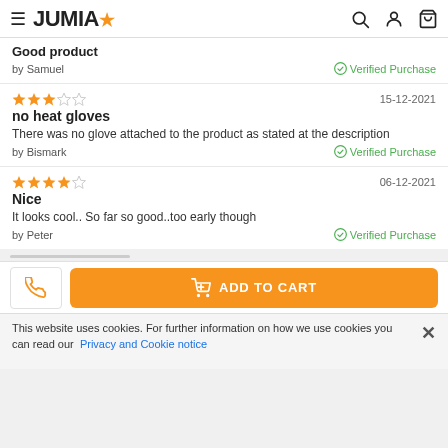JUMIA
Good product
by Samuel
Verified Purchase
★★★☆☆ 15-12-2021
no heat gloves
There was no glove attached to the product as stated at the description
by Bismark
Verified Purchase
★★★★☆ 06-12-2021
Nice
It looks cool.. So far so good..too early though
by Peter
Verified Purchase
ADD TO CART
This website uses cookies. For further information on how we use cookies you can read our Privacy and Cookie notice